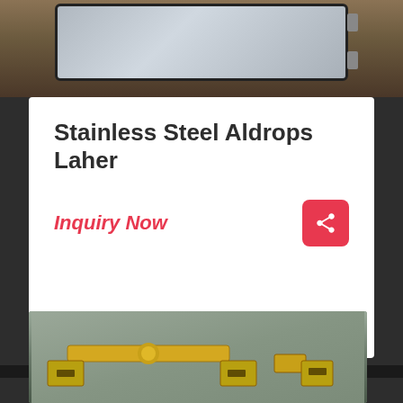[Figure (photo): Photo of a stainless steel door hardware item (Aldrops Laher) mounted on a wooden surface with mirror/glass panel and metal hinges]
Stainless Steel Aldrops Laher
Inquiry Now
[Figure (photo): Photo of gold/brass colored aldrop latch hardware laid on a granite surface, showing the locking mechanism components]